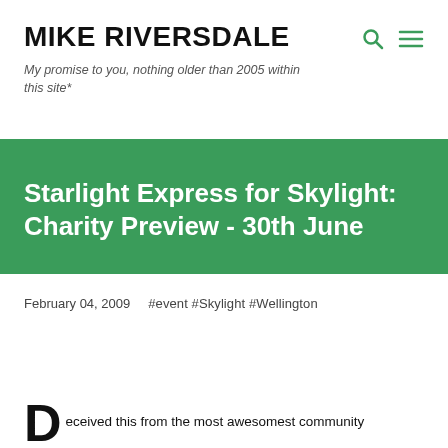MIKE RIVERSDALE
My promise to you, nothing older than 2005 within this site*
Starlight Express for Skylight: Charity Preview - 30th June
February 04, 2009   #event #Skylight #Wellington
eceived this from the most awesomest community